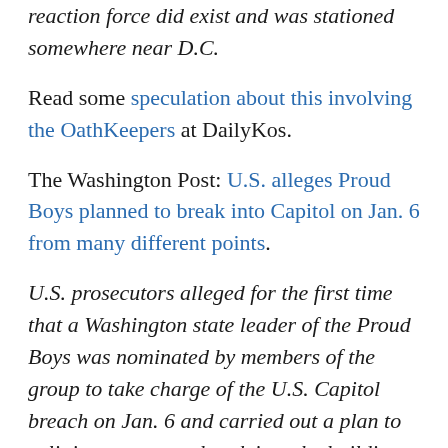reaction force did exist and was stationed somewhere near D.C.
Read some speculation about this involving the OathKeepers at DailyKos.
The Washington Post: U.S. alleges Proud Boys planned to break into Capitol on Jan. 6 from many different points.
U.S. prosecutors alleged for the first time that a Washington state leader of the Proud Boys was nominated by members of the group to take charge of the U.S. Capitol breach on Jan. 6 and carried out a plan to split into groups to break into the building from as many points as possible.
In a 24-page filing Monday, U.S. prosecutors asked a federal judge in Washington, D.C., to keep Ethan